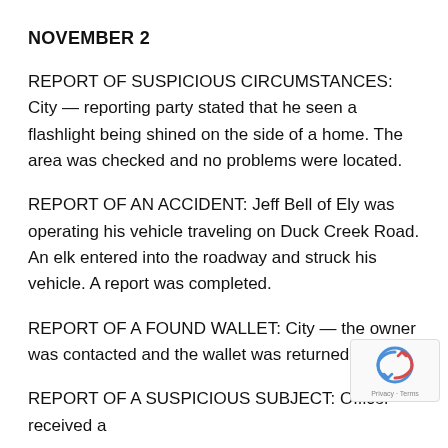NOVEMBER 2
REPORT OF SUSPICIOUS CIRCUMSTANCES: City — reporting party stated that he seen a flashlight being shined on the side of a home. The area was checked and no problems were located.
REPORT OF AN ACCIDENT: Jeff Bell of Ely was operating his vehicle traveling on Duck Creek Road. An elk entered into the roadway and struck his vehicle. A report was completed.
REPORT OF A FOUND WALLET: City — the owner was contacted and the wallet was returned.
REPORT OF A SUSPICIOUS SUBJECT: Officer received a